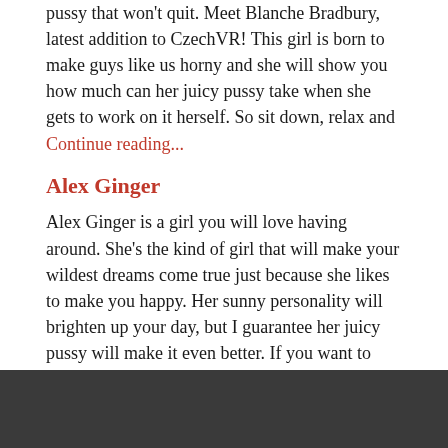pussy that won't quit. Meet Blanche Bradbury, latest addition to CzechVR! This girl is born to make guys like us horny and she will show you how much can her juicy pussy take when she gets to work on it herself. So sit down, relax and
Continue reading...
Alex Ginger
Alex Ginger is a girl you will love having around. She's the kind of girl that will make your wildest dreams come true just because she likes to make you happy. Her sunny personality will brighten up your day, but I guarantee her juicy pussy will make it even better. If you want to know
Continue reading...